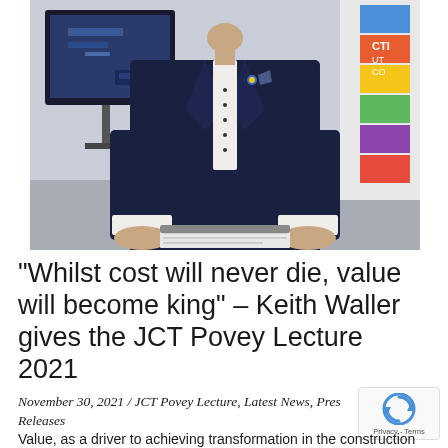[Figure (photo): A man in a dark navy suit standing at a podium or lectern, holding papers, with a TV screen visible behind him on the left and a colorful banner/display on the right. The setting appears to be a formal lecture or presentation event.]
“Whilst cost will never die, value will become king” – Keith Waller gives the JCT Povey Lecture 2021
November 30, 2021 / JCT Povey Lecture, Latest News, Press Releases
Value, as a driver to achieving transformation in the construction